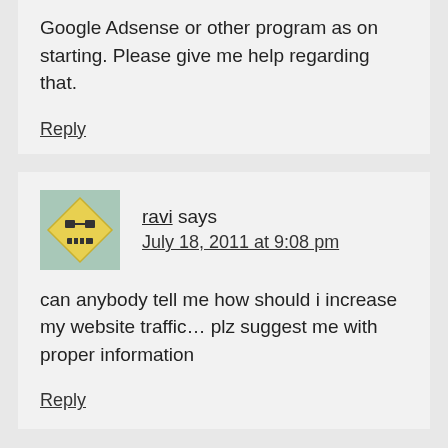Google Adsense or other program as on starting. Please give me help regarding that.
Reply
ravi says July 18, 2011 at 9:08 pm
can anybody tell me how should i increase my website traffic… plz suggest me with proper information
Reply